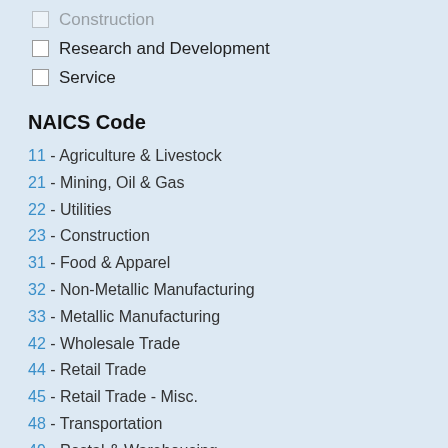Construction (checkbox, truncated at top)
Research and Development
Service
NAICS Code
11 - Agriculture & Livestock
21 - Mining, Oil & Gas
22 - Utilities
23 - Construction
31 - Food & Apparel
32 - Non-Metallic Manufacturing
33 - Metallic Manufacturing
42 - Wholesale Trade
44 - Retail Trade
45 - Retail Trade - Misc.
48 - Transportation
49 - Postal & Warehousing
51 - IT Technology
52 - Finance and Insurance
53 - Real Estate